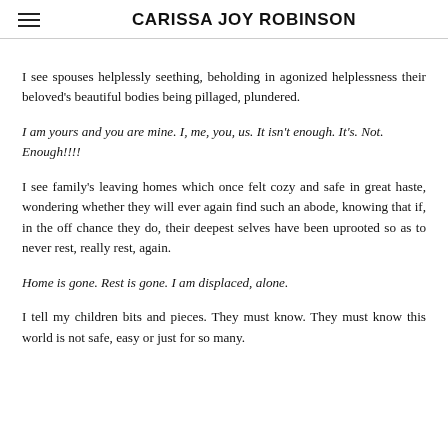CARISSA JOY ROBINSON
I see spouses helplessly seething, beholding in agonized helplessness their beloved's beautiful bodies being pillaged, plundered.
I am yours and you are mine. I, me, you, us. It isn't enough. It's. Not. Enough!!!!
I see family's leaving homes which once felt cozy and safe in great haste, wondering whether they will ever again find such an abode, knowing that if, in the off chance they do, their deepest selves have been uprooted so as to never rest, really rest, again.
Home is gone. Rest is gone. I am displaced, alone.
I tell my children bits and pieces. They must know. They must know this world is not safe, easy or just for so many.